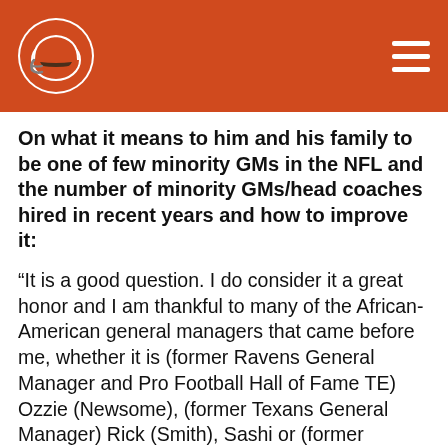[Figure (logo): Cleveland Browns NFL team logo — orange helmet on white circular background in header]
On what it means to him and his family to be one of few minority GMs in the NFL and the number of minority GMs/head coaches hired in recent years and how to improve it:
“It is a good question. I do consider it a great honor and I am thankful to many of the African-American general managers that came before me, whether it is (former Ravens General Manager and Pro Football Hall of Fame TE) Ozzie (Newsome), (former Texans General Manager) Rick (Smith), Sashi or (former Browns General Manager) Ray (Farmer). It is an incredible honor. In terms of what can be done and what can be promoted, I think that part of this is exposure. There are tons of talented executives across the NFL that fit different demographic profiles, whether it is age or race or quite honestly even for gender at this point in